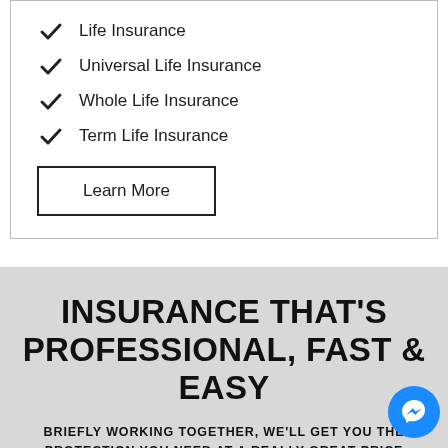Life Insurance
Universal Life Insurance
Whole Life Insurance
Term Life Insurance
Learn More
INSURANCE THAT'S PROFESSIONAL, FAST & EASY
BRIEFLY WORKING TOGETHER, WE'LL GET YOU THE PROTECTION YOU NEED AT A REALLY GREAT PRICE